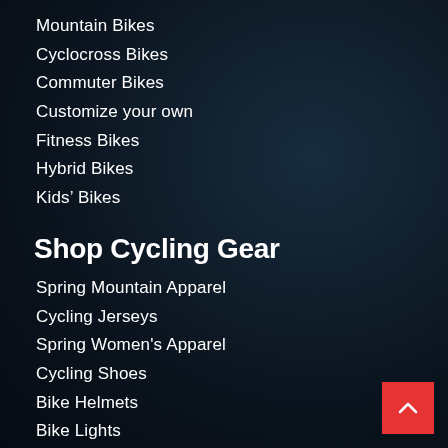Mountain Bikes
Cyclocross Bikes
Commuter Bikes
Customize your own
Fitness Bikes
Hybrid Bikes
Kids’ Bikes
Shop Cycling Gear
Spring Mountain Apparel
Cycling Jerseys
Spring Women's Apparel
Cycling Shoes
Bike Helmets
Bike Lights
Triathlon Equipment & Accessories
Women Cycling
Bike Tires & Tubes